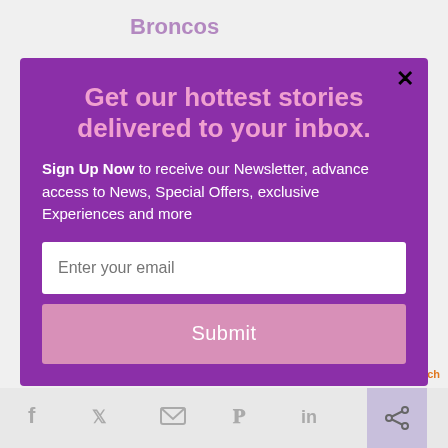Broncos
I think the older you get, the more you realize how important life is, the more you think about your
[Figure (screenshot): Newsletter signup modal popup with purple background. Title: 'Get our hottest stories delivered to your inbox.' Body text: 'Sign Up Now to receive our Newsletter, advance access to News, Special Offers, exclusive Experiences and more'. Email input field and Submit button.]
We'll assume you're ok with this, but you can opt-out if
powered by MailMunch
[Figure (infographic): Social share bar with Facebook, Twitter, email, Pinterest, LinkedIn, and share icons]